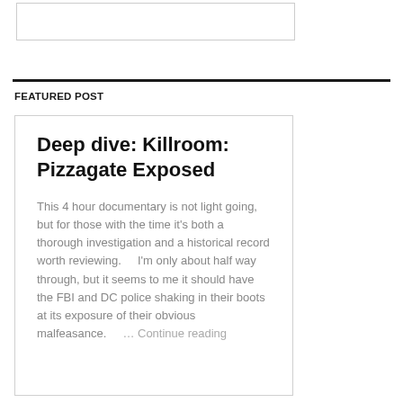[Figure (other): Empty white box with border at top of page]
FEATURED POST
Deep dive: Killroom: Pizzagate Exposed
This 4 hour documentary is not light going, but for those with the time it's both a thorough investigation and a historical record worth reviewing.    I'm only about half way through, but it seems to me it should have the FBI and DC police shaking in their boots at its exposure of their obvious malfeasance.     … Continue reading